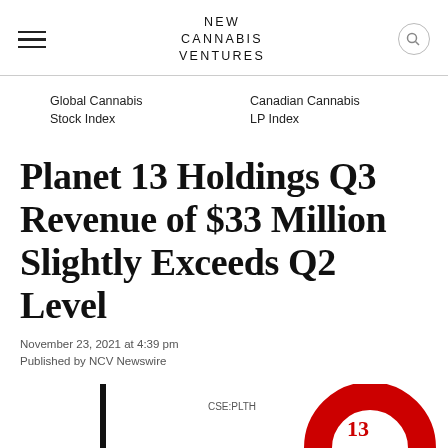NEW CANNABIS VENTURES
Global Cannabis Stock Index
Canadian Cannabis LP Index
Planet 13 Holdings Q3 Revenue of $33 Million Slightly Exceeds Q2 Level
November 23, 2021 at 4:39 pm
Published by NCV Newswire
[Figure (logo): Planet 13 Holdings logo with CSE:PLTH ticker and circular red graphic element partially visible at bottom of page]